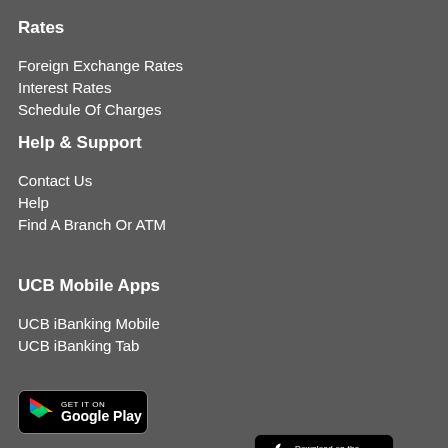Rates
Foreign Exchange Rates
Interest Rates
Schedule Of Charges
Help & Support
Contact Us
Help
Find A Branch Or ATM
UCB Mobile Apps
UCB iBanking Mobile
UCB iBanking Tab
[Figure (logo): Google Play store badge with play icon and text GET IT ON Google Play]
[Figure (logo): Apple App Store badge with apple icon and text Download on the App Store]